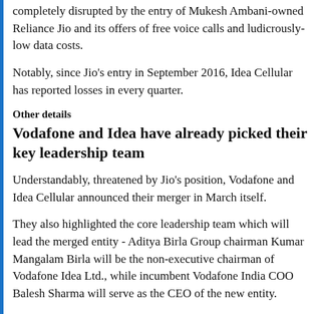completely disrupted by the entry of Mukesh Ambani-owned Reliance Jio and its offers of free voice calls and ludicrously-low data costs.
Notably, since Jio's entry in September 2016, Idea Cellular has reported losses in every quarter.
Other details
Vodafone and Idea have already picked their key leadership team
Understandably, threatened by Jio's position, Vodafone and Idea Cellular announced their merger in March itself.
They also highlighted the core leadership team which will lead the merged entity - Aditya Birla Group chairman Kumar Mangalam Birla will be the non-executive chairman of Vodafone Idea Ltd., while incumbent Vodafone India COO Balesh Sharma will serve as the CEO of the new entity.